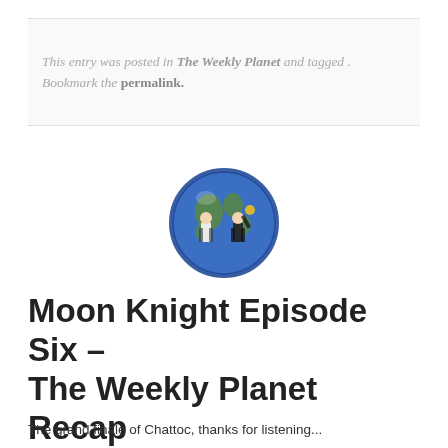This entry was posted in The Weekly Planet and tagged . Bookmark the permalink.
[Figure (logo): Circular logo of The Weekly Planet podcast showing two cartoon figures (one in white shirt, one in dark suit) in front of a blue globe/Earth illustration]
Moon Knight Episode Six – The Weekly Planet Recap
Posted on May 4, 2022 by The Weekly Planet
The grand finale of Chattoc, thanks for listening...